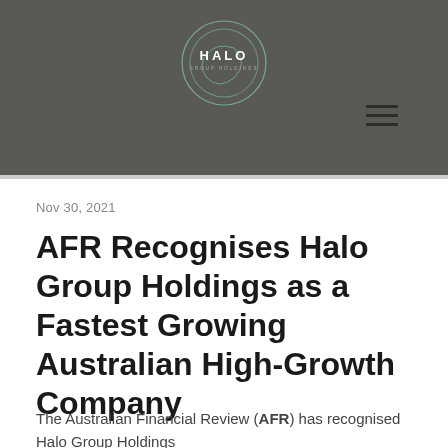[Figure (logo): Halo Group Holdings circular logo with concentric rings on dark grey background header]
Nov 30, 2021
AFR Recognises Halo Group Holdings as a Fastest Growing Australian High-Growth Company
The Australian Financial Review (AFR) has recognised Halo Group Holdings